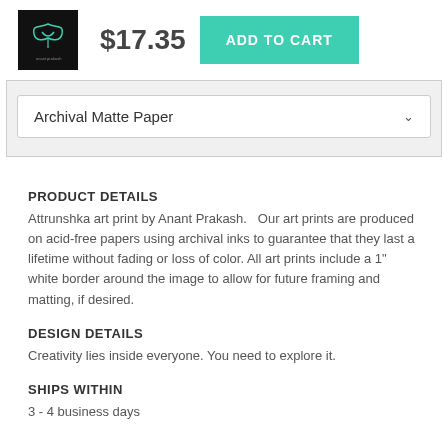[Figure (logo): Black square logo with teal bird/wing graphic and small text below]
$17.35
ADD TO CART
Archival Matte Paper
PRODUCT DETAILS
Attrunshka art print by Anant Prakash.   Our art prints are produced on acid-free papers using archival inks to guarantee that they last a lifetime without fading or loss of color. All art prints include a 1" white border around the image to allow for future framing and matting, if desired.
DESIGN DETAILS
Creativity lies inside everyone. You need to explore it.
SHIPS WITHIN
3 - 4 business days